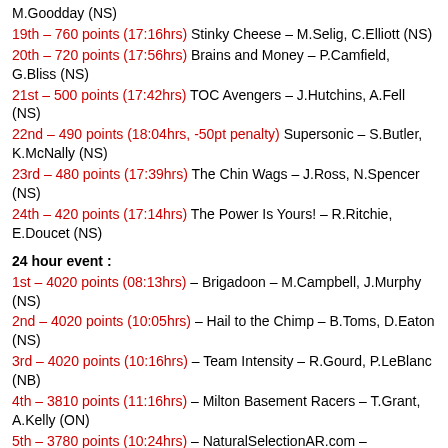M.Goodday (NS)
19th – 760 points (17:16hrs) Stinky Cheese – M.Selig, C.Elliott (NS)
20th – 720 points (17:56hrs) Brains and Money – P.Camfield, G.Bliss (NS)
21st – 500 points (17:42hrs) TOC Avengers – J.Hutchins, A.Fell (NS)
22nd – 490 points (18:04hrs, -50pt penalty) Supersonic – S.Butler, K.McNally (NS)
23rd – 480 points (17:39hrs) The Chin Wags – J.Ross, N.Spencer (NS)
24th – 420 points (17:14hrs) The Power Is Yours! – R.Ritchie, E.Doucet (NS)
24 hour event :
1st – 4020 points (08:13hrs) – Brigadoon – M.Campbell, J.Murphy (NS)
2nd – 4020 points (10:05hrs) – Hail to the Chimp – B.Toms, D.Eaton (NS)
3rd – 4020 points (10:16hrs) – Team Intensity – R.Gourd, P.LeBlanc (NB)
4th – 3810 points (11:16hrs) – Milton Basement Racers – T.Grant, A.Kelly (ON)
5th – 3780 points (10:24hrs) – NaturalSelectionAR.com – N.Couture, N.Russon (NB)
6th – 3660 points (11:02hrs) – DUNNO – S.Bethune, D.Hamel (NB)
7th – 3600 points (11:08hrs) – Springhill Merlins – B.McMurtrie, G.Billings (NB)
8th – 3490 points (09:46hrs) – Hoops & Yoyo – J.Isenor, K.Comeau (NS)
9th – 3470 points (10:20:36hrs) – Hammerheads Two – K.Tae, D.Kaye (NS)